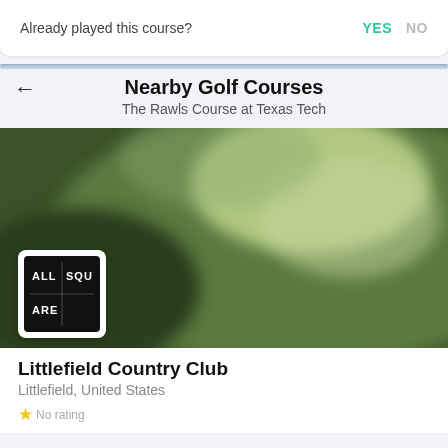Already played this course?   YES   NO
Nearby Golf Courses
The Rawls Course at Texas Tech
[Figure (photo): Blurred golf course green/fairway aerial photo used as course card header image]
[Figure (logo): All Square logo — black square with white text reading ALL SQU ARE in a grid layout]
Littlefield Country Club
Littlefield, United States
★ (star rating row, partially visible)